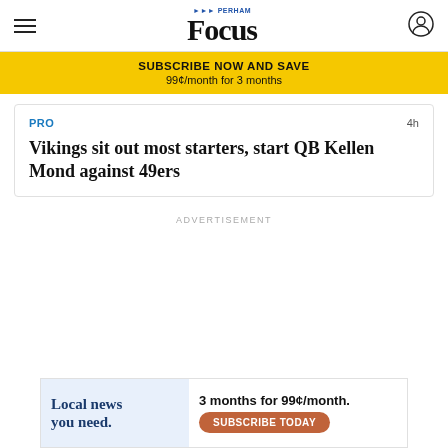Perham Focus
SUBSCRIBE NOW AND SAVE
99¢/month for 3 months
PRO  4h
Vikings sit out most starters, start QB Kellen Mond against 49ers
ADVERTISEMENT
[Figure (infographic): Bottom advertisement banner: 'Local news you need. 3 months for 99¢/month. SUBSCRIBE TODAY']